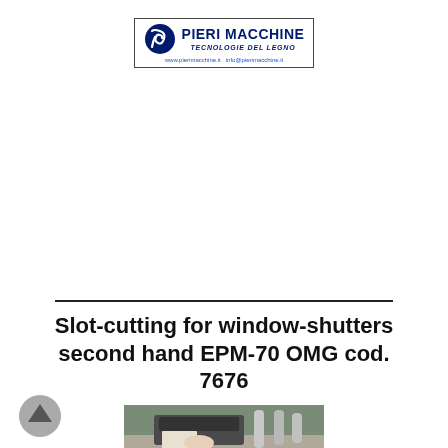[Figure (logo): Pieri Macchine logo with circular P icon, company name in dark blue bold capitals, subtitle TECNOLOGIE DEL LEGNO in italic, and website/email URLs below]
Slot-cutting for window-shutters second hand EPM-70 OMG cod. 7676
[Figure (photo): Photo of a slot-cutting machine for window shutters, EPM-70 OMG, showing industrial woodworking equipment on a workbench]